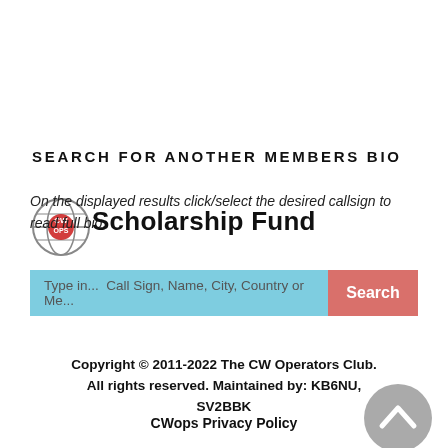SEARCH FOR ANOTHER MEMBERS BIO
On the displayed results click/select the desired callsign to read full bio.
[Figure (logo): CWops logo — globe with CW OPS text in red circle]
Scholarship Fund
[Figure (screenshot): Search bar with light blue input field reading 'Type in... Call Sign, Name, City, Country or Me...' and a rose/salmon colored Search button]
Copyright © 2011-2022 The CW Operators Club. All rights reserved. Maintained by: KB6NU, SV2BBK
CWops Privacy Policy